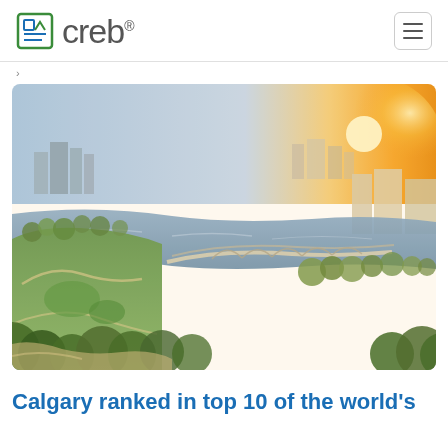creb®
[Figure (photo): Aerial drone photograph of Calgary, showing the Peace Bridge over the Bow River, with parkland, trees, and city buildings in golden sunset light.]
Calgary ranked in top 10 of the world's most liveable cities